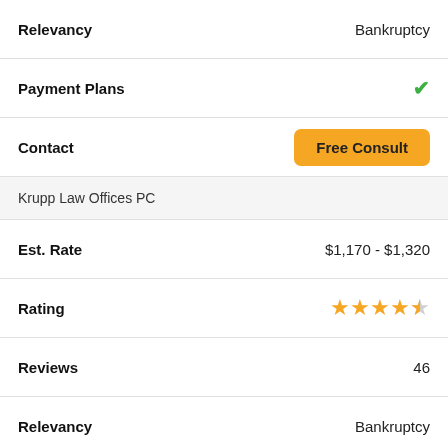| Field | Value |
| --- | --- |
| Relevancy | Bankruptcy |
| Payment Plans | ✓ |
| Contact | Free Consult |
| Krupp Law Offices PC |  |
| Est. Rate | $1,170 - $1,320 |
| Rating | 4.5 stars |
| Reviews | 46 |
| Relevancy | Bankruptcy |
| Payment Plans | ✓ |
| Contact | Free Consult |
| Van Den Heuvel Law Office |  |